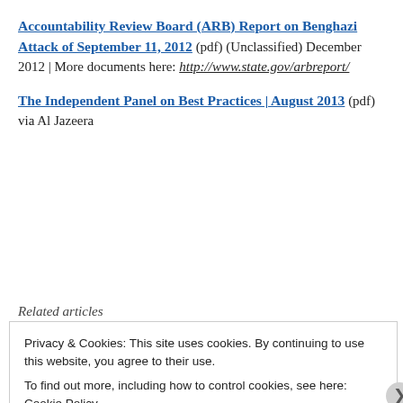Accountability Review Board (ARB) Report on Benghazi Attack of September 11, 2012 (pdf) (Unclassified) December 2012 | More documents here: http://www.state.gov/arbreport/
The Independent Panel on Best Practices | August 2013 (pdf) via Al Jazeera
Related articles
Privacy & Cookies: This site uses cookies. By continuing to use this website, you agree to their use.
To find out more, including how to control cookies, see here: Cookie Policy